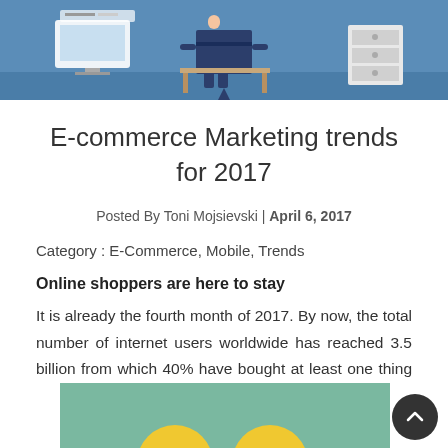[Figure (illustration): Top banner illustration of an e-commerce/office scene with blue background, showing a person at a computer desk, filing cabinet, and other office elements in a flat design style.]
E-commerce Marketing trends for 2017
Posted By Toni Mojsievski | April 6, 2017
Category : E-Commerce, Mobile, Trends
Online shoppers are here to stay
It is already the fourth month of 2017. By now, the total number of internet users worldwide has reached 3.5 billion from which 40% have bought at least one thing online. Or in plain numbers,
[Figure (illustration): Partial illustration at the bottom of the page with a teal/green background, partially visible.]